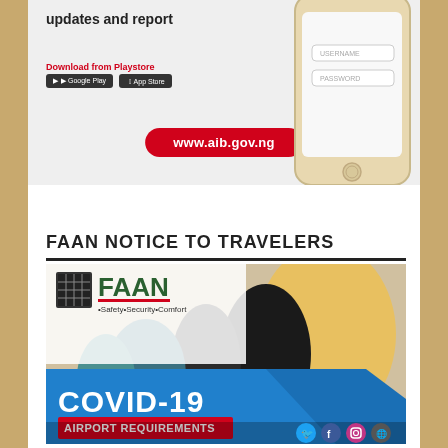[Figure (infographic): AIB app advertisement with phone graphic, Download from Playstore text, Google Play and App Store badges, and www.aib.gov.ng URL pill button on gray background]
FAAN NOTICE TO TRAVELERS
[Figure (infographic): FAAN COVID-19 Airport Requirements banner with FAAN logo (Safety Security Comfort), photo of travelers, blue diagonal COVID-19 banner text, and social media icons at bottom]